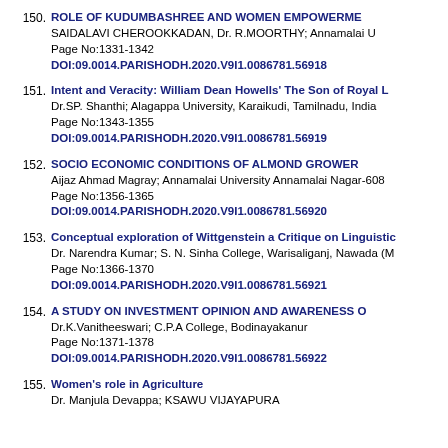150. ROLE OF KUDUMBASHREE AND WOMEN EMPOWERMENT
SAIDALAVI CHEROOKKADAN, Dr. R.MOORTHY; Annamalai University
Page No:1331-1342
DOI:09.0014.PARISHODH.2020.V9I1.0086781.56918
151. Intent and Veracity: William Dean Howells' The Son of Royal L
Dr.SP. Shanthi; Alagappa University, Karaikudi, Tamilnadu, India
Page No:1343-1355
DOI:09.0014.PARISHODH.2020.V9I1.0086781.56919
152. SOCIO ECONOMIC CONDITIONS OF ALMOND GROWER
Aijaz Ahmad Magray; Annamalai University Annamalai Nagar-608
Page No:1356-1365
DOI:09.0014.PARISHODH.2020.V9I1.0086781.56920
153. Conceptual exploration of Wittgenstein a Critique on Linguistic
Dr. Narendra Kumar; S. N. Sinha College, Warisaliganj, Nawada (M
Page No:1366-1370
DOI:09.0014.PARISHODH.2020.V9I1.0086781.56921
154. A STUDY ON INVESTMENT OPINION AND AWARENESS O
Dr.K.Vanitheeswari; C.P.A College, Bodinayakanur
Page No:1371-1378
DOI:09.0014.PARISHODH.2020.V9I1.0086781.56922
155. Women's role in Agriculture
Dr. Manjula Devappa; KSAWU VIJAYAPURA